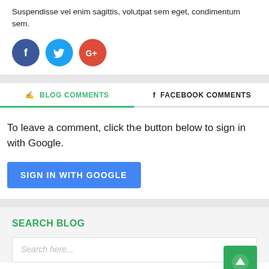Suspendisse vel enim sagittis, volutpat sem eget, condimentum sem.
[Figure (infographic): Three social media share buttons: Facebook (dark blue circle with f), Twitter (cyan circle with bird icon), Google+ (red circle with G+)]
BLOG COMMENTS
FACEBOOK COMMENTS
To leave a comment, click the button below to sign in with Google.
[Figure (other): Blue button labeled SIGN IN WITH GOOGLE]
SEARCH BLOG
[Figure (other): Green square scroll-to-top button with upward arrow icon]
Search here...